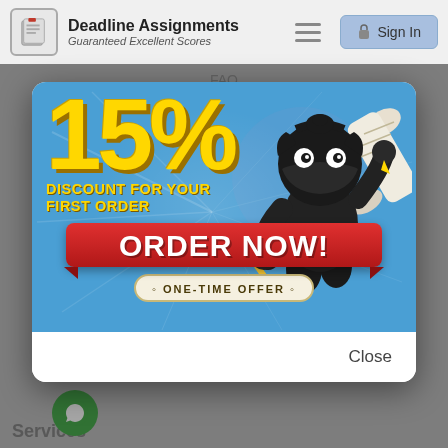Deadline Assignments — Guaranteed Excellent Scores | Sign In
FAQ
[Figure (infographic): Promotional popup banner with a ninja character holding a scroll and pencil, advertising 15% discount for first order. Contains 'ORDER NOW!' button and 'ONE-TIME OFFER' tag on a blue background with explosion/crack effect.]
Close
Services